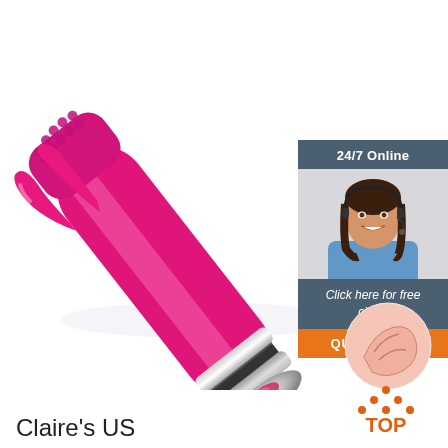[Figure (photo): Hot pink rabbit-style vibrator product photo on white background, diagonal orientation with textured tip visible at top right]
24/7 Online
[Figure (photo): Female customer service agent with headset, smiling, dark hair, blue shirt]
Click here for free chat !
QUOTATION
[Figure (illustration): Round circle illustration showing pink skin/body closeup]
[Figure (illustration): TOP icon with orange triangle dots and orange text]
Claire's US